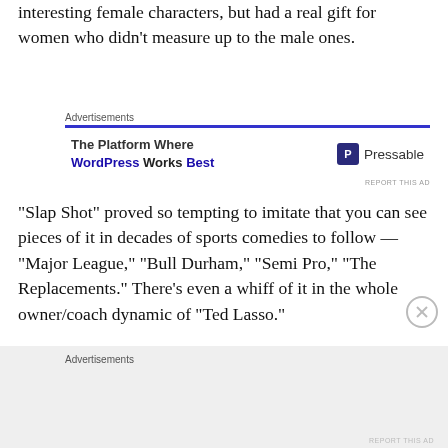interesting female characters, but had a real gift for women who didn't measure up to the male ones.
[Figure (other): Advertisement banner for Pressable WordPress hosting: 'The Platform Where WordPress Works Best' with Pressable logo]
“Slap Shot” proved so tempting to imitate that you can see pieces of it in decades of sports comedies to follow — “Major League,” “Bull Durham,” “Semi Pro,” “The Replacements.” There’s even a whiff of it in the whole owner/coach dynamic of “Ted Lasso.”
But what smacks you right in the face watching this beloved, overlong and uneven picture now are how it
[Figure (other): Advertisement banner area at bottom of page]